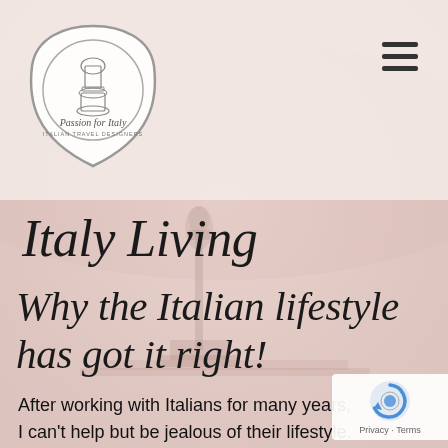[Figure (logo): Passion for Italy Italian Travel Designers circular logo with decorative urn illustration]
[Figure (photo): Faded background photo of an Italian cityscape with a classical domed monument or fountain]
Italy Living
Why the Italian lifestyle has got it right!
After working with Italians for many years, I can't help but be jealous of their lifestyle. Every time I return from Italy, I am determined to try to adapt the